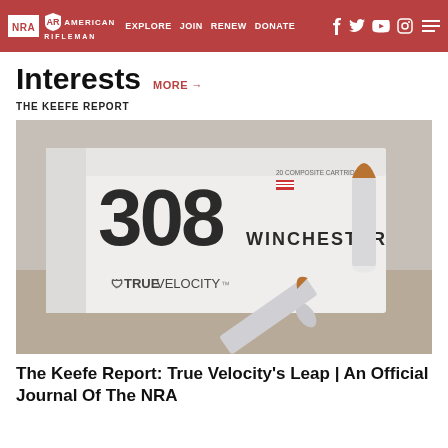NRA | EXPLORE | AMERICAN RIFLEMAN | JOIN | RENEW | DONATE
Interests MORE →
THE KEEFE REPORT
[Figure (photo): A box of True Velocity 308 Winchester composite cartridges with two polymer-cased bullets displayed in front on a wooden surface.]
The Keefe Report: True Velocity's Leap | An Official Journal Of The NRA